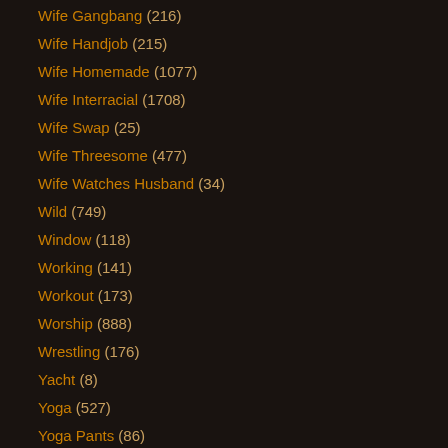Wife Gangbang (216)
Wife Handjob (215)
Wife Homemade (1077)
Wife Interracial (1708)
Wife Swap (25)
Wife Threesome (477)
Wife Watches Husband (34)
Wild (749)
Window (118)
Working (141)
Workout (173)
Worship (888)
Wrestling (176)
Yacht (8)
Yoga (527)
Yoga Pants (86)